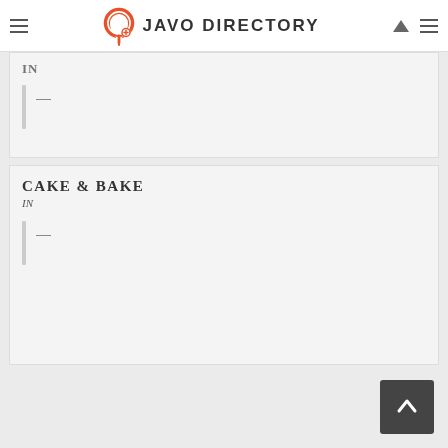JAVO DIRECTORY
IN
—
CAKE & BAKE
IN
—